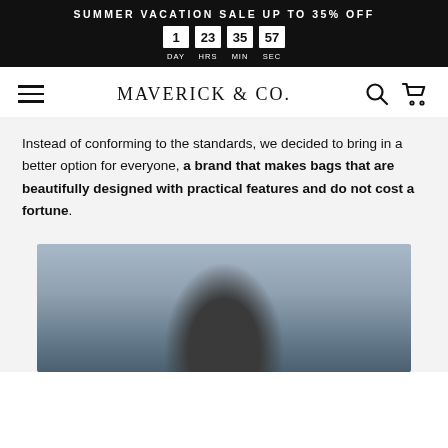SUMMER VACATION SALE UP TO 35% OFF — 1 DAY 23 HRS 35 MIN 57 SEC
MAVERICK & CO.
Instead of conforming to the standards, we decided to bring in a better option for everyone, a brand that makes bags that are beautifully designed with practical features and do not cost a fortune.
[Figure (photo): Man seen from behind walking outdoors, carrying a bag, near a glass building.]